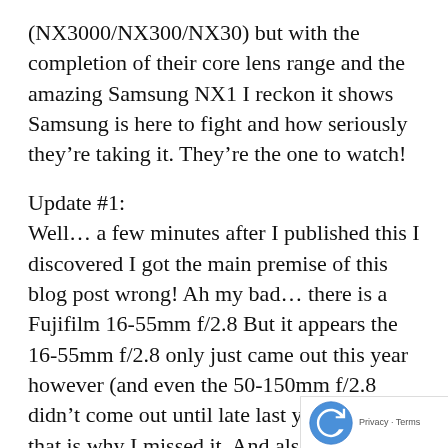(NX3000/NX300/NX30) but with the completion of their core lens range and the amazing Samsung NX1 I reckon it shows Samsung is here to fight and how seriously they're taking it. They're the one to watch!
Update #1:
Well… a few minutes after I published this I discovered I got the main premise of this blog post wrong! Ah my bad… there is a Fujifilm 16-55mm f/2.8 But it appears the 16-55mm f/2.8 only just came out this year however (and even the 50-150mm f/2.8 didn't come out until late last year), guess that is why I missed it. And also it didn't come out until a year after Samsung's 16-50mm f/2.8 (and 50-150mm f/2.8), thus meaning th